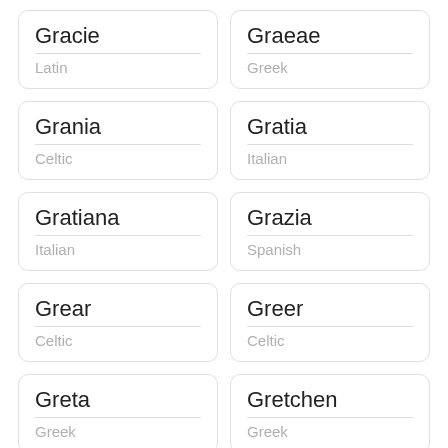Gracie — Latin
Graeae — Greek
Grania — Celtic
Gratia — Italian
Gratiana — Italian
Grazia — Spanish
Grear — Celtic
Greer — Celtic
Greta — Greek
Gretchen — Greek
Gretel — Scandinavian
Grette — Scandinavian